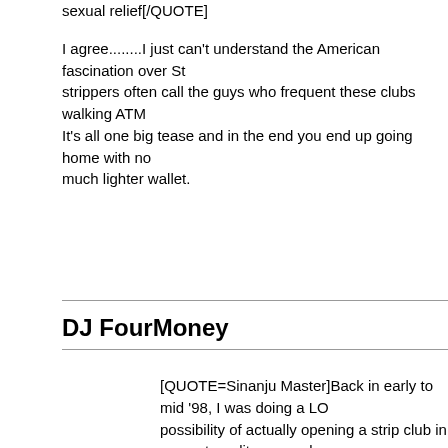sexual relief[/QUOTE]

I agree........I just can't understand the American fascination over St... strippers often call the guys who frequent these clubs walking ATM... It's all one big tease and in the end you end up going home with no... much lighter wallet.
DJ FourMoney
[QUOTE=Sinanju Master]Back in early to mid '98, I was doing a LO... possibility of actually opening a strip club in my metropolitan area, b... Bible-thumping peasantry was a HUGE factor that entered into the... damned MAYOR even killed the possibility of an already established... from setting roots down here, 'cos he HEARD RUMOR of mob ties... even actually look into it, but that was enough to bring down the gu... add to THAT, there are a couple of popular strip clubs on a very po... and civil) street that have had their renewal requests denied for the... marching of the boots of the feminazis even as we speak... To pull... have a LOT of luck and a LOT of lawyers willing to go to bat for you... the Anti-Sex League (a little "1984" reference for those of you who... read said book) would be taxing upon even the most SUCCESSFU... citizen sitting on his ass at home is gonna deny a little girl crying (o... that such an establishment could bring upon their neighborhood? N... few years ago and the acting by this little faker was hilarious! That's... WRONG is willing to go. Instead of arguing the point on merit, they...